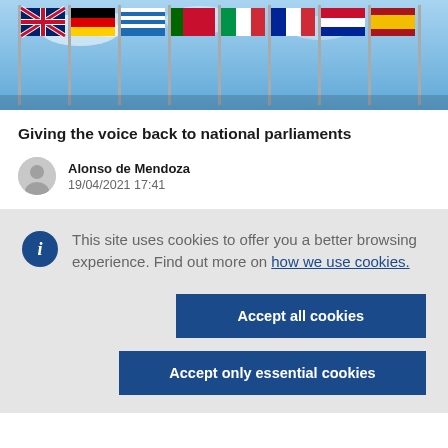[Figure (photo): Row of European national flags on flagpoles against a blue sky]
Giving the voice back to national parliaments
Alonso de Mendoza
19/04/2021 17:41
This site uses cookies to offer you a better browsing experience. Find out more on how we use cookies.
Accept all cookies
Accept only essential cookies